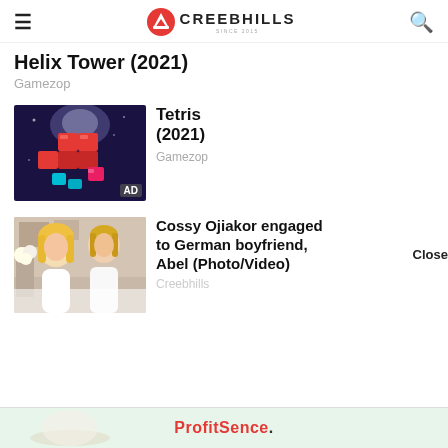CREEBHILLS
Helix Tower (2021)
Gamezop
[Figure (screenshot): Tetris game screenshot showing colorful falling blocks on dark background with AD badge]
Tetris (2021)
Gamezop
[Figure (photo): Photo of Cossy Ojiakor with blonde hair in white dress with another person]
Cossy Ojiakor engaged to German boyfriend, Abel (Photo/Video)
Creebhills
Close
[Figure (infographic): ProfitSence advertisement banner at the bottom of the page]